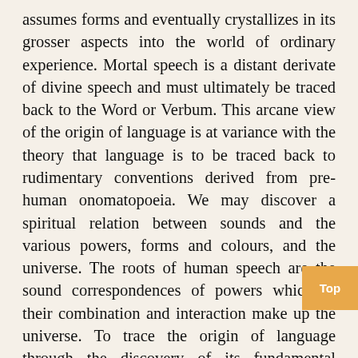assumes forms and eventually crystallizes in its grosser aspects into the world of ordinary experience. Mortal speech is a distant derivate of divine speech and must ultimately be traced back to the Word or Verbum. This arcane view of the origin of language is at variance with the theory that language is to be traced back to rudimentary conventions derived from pre-human onomatopoeia. We may discover a spiritual relation between sounds and the various powers, forms and colours, and the universe. The roots of human speech are the sound correspondences of powers which in their combination and interaction make up the universe. To trace the origin of language through the discovery of its fundamental structure is to outline the unfoldment of nature from its seed in the abstract Word. In human speech, "every root is charged with significance, being the symbol of a force which is itself the fountain of many energies, even primordial being when manifested rolls itself out into numberless forms, states of energy, and